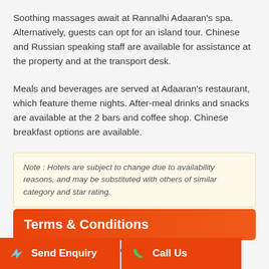Soothing massages await at Rannalhi Adaaran's spa. Alternatively, guests can opt for an island tour. Chinese and Russian speaking staff are available for assistance at the property and at the transport desk.
Meals and beverages are served at Adaaran's restaurant, which feature theme nights. After-meal drinks and snacks are available at the 2 bars and coffee shop. Chinese breakfast options are available.
Note : Hotels are subject to change due to availability reasons, and may be substituted with others of similar category and star rating.
Terms & Conditions
Price mentioned is on per person basis for two persons travelling